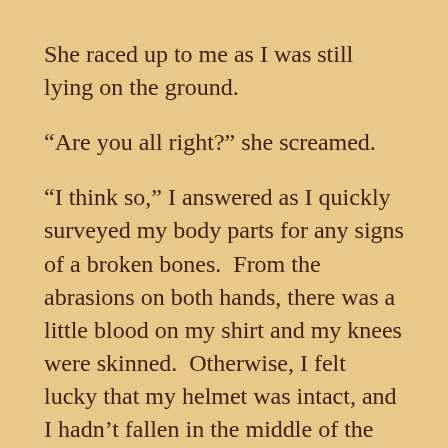She raced up to me as I was still lying on the ground.
“Are you all right?” she screamed.
“I think so,” I answered as I quickly surveyed my body parts for any signs of a broken bones.  From the abrasions on both hands, there was a little blood on my shirt and my knees were skinned.  Otherwise, I felt lucky that my helmet was intact, and I hadn’t fallen in the middle of the street traffic.
“This is the last time we’re renting bikes!” she